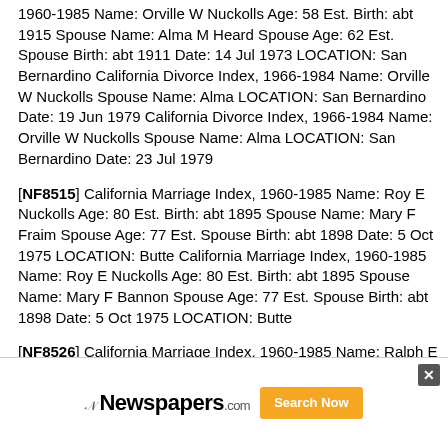1960-1985 Name: Orville W Nuckolls Age: 58 Est. Birth: abt 1915 Spouse Name: Alma M Heard Spouse Age: 62 Est. Spouse Birth: abt 1911 Date: 14 Jul 1973 LOCATION: San Bernardino California Divorce Index, 1966-1984 Name: Orville W Nuckolls Spouse Name: Alma LOCATION: San Bernardino Date: 19 Jun 1979 California Divorce Index, 1966-1984 Name: Orville W Nuckolls Spouse Name: Alma LOCATION: San Bernardino Date: 23 Jul 1979
[NF8515] California Marriage Index, 1960-1985 Name: Roy E Nuckolls Age: 80 Est. Birth: abt 1895 Spouse Name: Mary F Fraim Spouse Age: 77 Est. Spouse Birth: abt 1898 Date: 5 Oct 1975 LOCATION: Butte California Marriage Index, 1960-1985 Name: Roy E Nuckolls Age: 80 Est. Birth: abt 1895 Spouse Name: Mary F Bannon Spouse Age: 77 Est. Spouse Birth: abt 1898 Date: 5 Oct 1975 LOCATION: Butte
[NF8526] California Marriage Index, 1960-1985 Name: Ralph E Nuckols Age: 68 Est. Birth: abt 1897 Spouse Name: Elsie P Carter Spouse Age: 64 Est. Spouse Birth: abt 1901 Date: 28 May 1965 LOCATION: Mendocino
[NF8534] California Divorce Index, 1966-1984 Name: Ted O Nuckols S... Santa Clara Date...
[Figure (other): Advertisement overlay for Newspapers.com with Search Now button and close button]